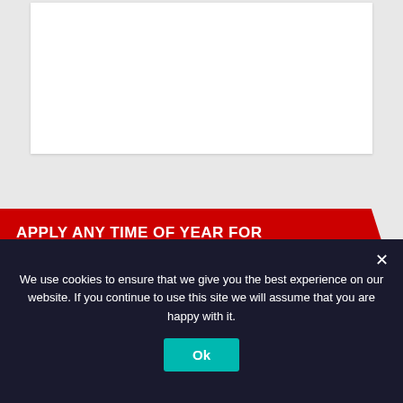[Figure (other): Top white card area - blank white rectangle on grey background]
APPLY ANY TIME OF YEAR FOR
[Figure (illustration): Blue banner image with white bold italic text reading 'Apply any time of year for Internships/ Scholarships']
We use cookies to ensure that we give you the best experience on our website. If you continue to use this site we will assume that you are happy with it.
Ok